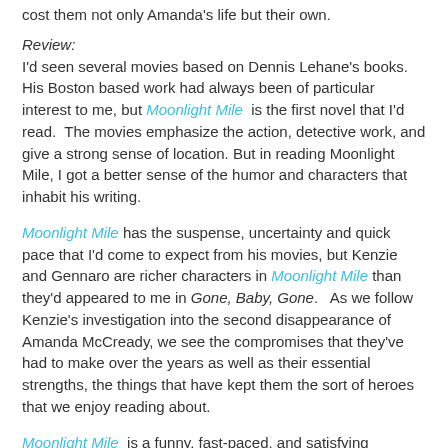cost them not only Amanda's life but their own.
Review:
I'd seen several movies based on Dennis Lehane's books. His Boston based work had always been of particular interest to me, but Moonlight Mile is the first novel that I'd read. The movies emphasize the action, detective work, and give a strong sense of location. But in reading Moonlight Mile, I got a better sense of the humor and characters that inhabit his writing.
Moonlight Mile has the suspense, uncertainty and quick pace that I'd come to expect from his movies, but Kenzie and Gennaro are richer characters in Moonlight Mile than they'd appeared to me in Gone, Baby, Gone. As we follow Kenzie's investigation into the second disappearance of Amanda McCready, we see the compromises that they've had to make over the years as well as their essential strengths, the things that have kept them the sort of heroes that we enjoy reading about.
Moonlight Mile is a funny, fast-paced, and satisfying